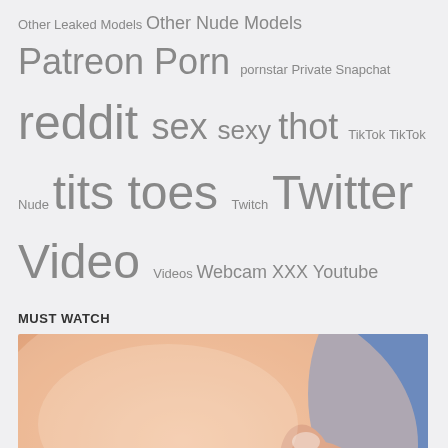Other Leaked Models Other Nude Models Patreon Porn pornstar Private Snapchat reddit sex sexy thot TikTok TikTok Nude tits toes Twitch Twitter Video Videos Webcam XXX Youtube
MUST WATCH
[Figure (photo): Close-up photo of a hand touching skin, soft-focus image]